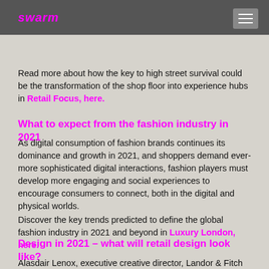swarm [logo]
experiences, proving the retail tipping point will drive revenue growth for experiential retailers in the future. Read more about how the key to high street survival could be the transformation of the shop floor into experience hubs in Retail Focus, here.
What to expect from the fashion industry in 2021
As digital consumption of fashion brands continues its dominance and growth in 2021, and shoppers demand ever-more sophisticated digital interactions, fashion players must develop more engaging and social experiences to encourage consumers to connect, both in the digital and physical worlds.
Discover the key trends predicted to define the global fashion industry in 2021 and beyond in Luxury London, here.
Design in 2021 – what will retail design look like?
Alasdair Lenox, executive creative director, Landor & Fitch